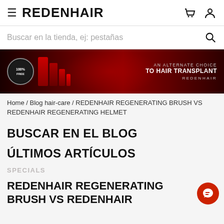≡ REDENHAIR
Buscar en la tienda, ej: pestañas
[Figure (photo): Redenhair banner ad showing hair care products with text: AN ALTERNATE CHOICE TO HAIR TRANSPLANT - REDENHAIR]
Home / Blog hair-care / REDENHAIR REGENERATING BRUSH VS REDENHAIR REGENERATING HELMET
BUSCAR EN EL BLOG
ÚLTIMOS ARTÍCULOS
SPECIALS
REDENHAIR REGENERATING BRUSH VS REDENHAIR REGENERATING HELMET